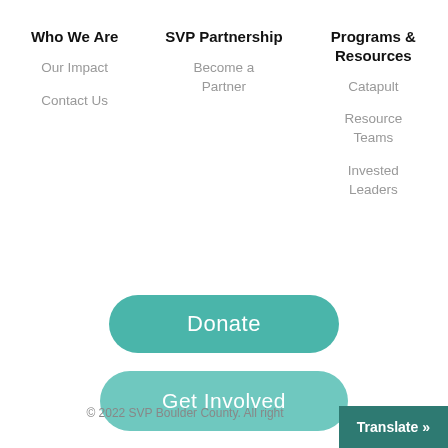Who We Are
Our Impact
Contact Us
SVP Partnership
Become a Partner
Programs & Resources
Catapult
Resource Teams
Invested Leaders
Donate
Get Involved
© 2022 SVP Boulder County. All right
Translate »